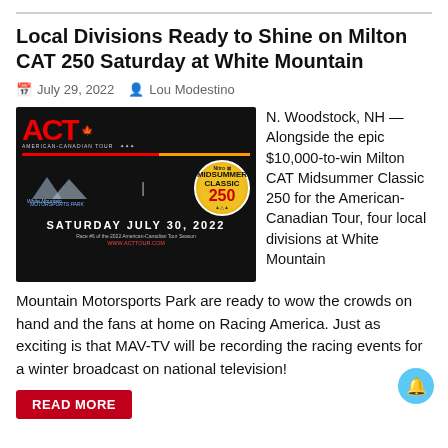Local Divisions Ready to Shine on Milton CAT 250 Saturday at White Mountain
July 29, 2022   Lou Modestino
[Figure (photo): ACT (American-Canadian Tour) promotional banner for White Mountain Motorsports Park Midsummer Classic 250, Saturday July 30, 2022. Race #6 of the 2022 American-Canadian Tour Season. www.acttour.com]
N. Woodstock, NH — Alongside the epic $10,000-to-win Milton CAT Midsummer Classic 250 for the American-Canadian Tour, four local divisions at White Mountain Motorsports Park are ready to wow the crowds on hand and the fans at home on Racing America. Just as exciting is that MAV-TV will be recording the racing events for a winter broadcast on national television!
READ MORE